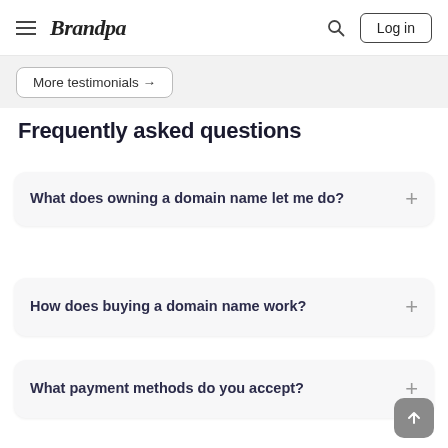Brandpa — Log in
More testimonials →
Frequently asked questions
What does owning a domain name let me do?
How does buying a domain name work?
What payment methods do you accept?